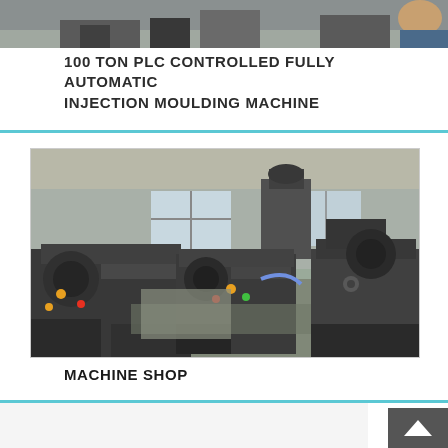[Figure (photo): Top portion of a photo showing industrial machinery or equipment, partially cropped at top of page]
100 TON PLC CONTROLLED FULLY AUTOMATIC INJECTION MOULDING MACHINE
[Figure (photo): Interior of a machine shop showing multiple lathe machines and industrial equipment arranged in a workshop with natural light coming through windows]
MACHINE SHOP